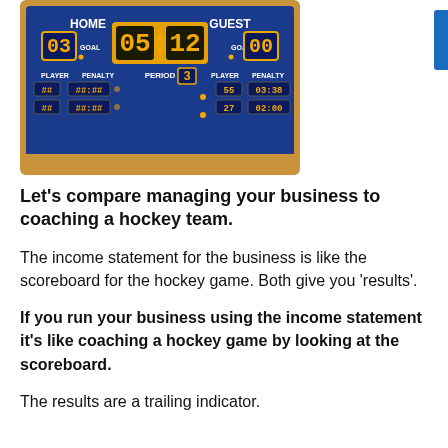[Figure (illustration): A hockey scoreboard showing HOME score 03, GUEST score 00, clock showing 05:42, PERIOD 3, with player and penalty sections displaying various numbers including 55, 27, 03:38, 02:00]
Let’s compare managing your business to coaching a hockey team.
The income statement for the business is like the scoreboard for the hockey game. Both give you ‘results’.
If you run your business using the income statement it’s like coaching a hockey game by looking at the scoreboard.
The results are a trailing indicator.